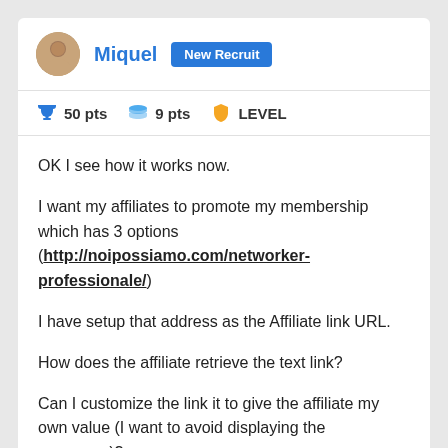Miquel  New Recruit  |  50 pts  9 pts  LEVEL
OK I see how it works now.

I want my affiliates to promote my membership which has 3 options (http://noipossiamo.com/networker-professionale/)

I have setup that address as the Affiliate link URL.

How does the affiliate retrieve the text link?

Can I customize the link it to give the affiliate my own value (I want to avoid displaying the username)?